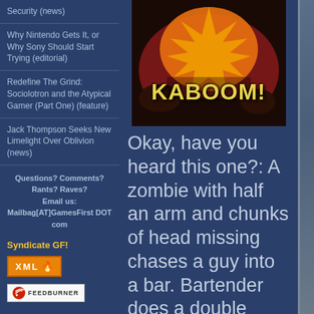Security (news)
Why Nintendo Gets It, or Why Sony Should Start Trying (editorial)
Redefine The Grind: Sociolotron and the Atypical Gamer (Part One) (feature)
Jack Thompson Seeks New Limelight Over Oblivion (news)
Questions? Comments? Rants? Raves? Email us: Mailbag[AT]GamesFirst DOT com
Syndicate GF!
[Figure (logo): XML feed badge button]
[Figure (logo): FeedBurner badge button]
[Figure (illustration): KABOOM! article image with explosion graphic in red, orange and dark tones]
Okay, have you heard this one?: A zombie with half an arm and chunks of head missing chases a guy into a bar. Bartender does a double take, quickly searches